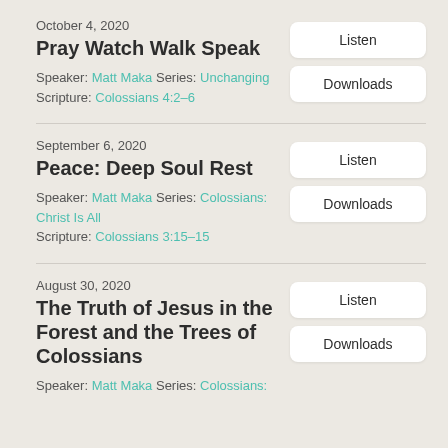October 4, 2020
Pray Watch Walk Speak
Speaker: Matt Maka Series: Unchanging
Scripture: Colossians 4:2–6
September 6, 2020
Peace: Deep Soul Rest
Speaker: Matt Maka Series: Colossians: Christ Is All
Scripture: Colossians 3:15–15
August 30, 2020
The Truth of Jesus in the Forest and the Trees of Colossians
Speaker: Matt Maka Series: Colossians: